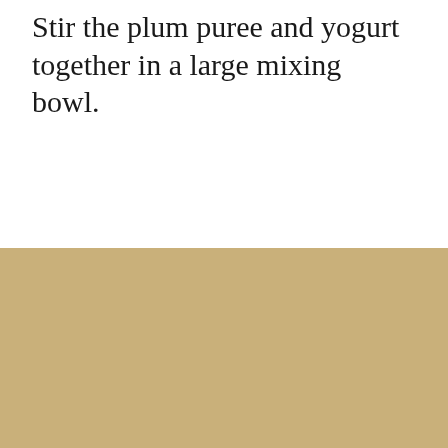Stir the plum puree and yogurt together in a large mixing bowl.
We use cookies on our website to give you the most relevant experience by remembering your preferences and repeat visits. By clicking “Accept”, you consent to the use of ALL the cookies. Do not sell my personal information.